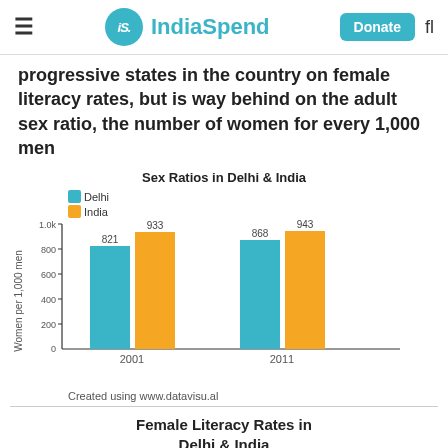IndiaSpend
progressive states in the country on female literacy rates, but is way behind on the adult sex ratio, the number of women for every 1,000 men
[Figure (grouped-bar-chart): Sex Ratios in Delhi & India]
Created using www.datavisu.al
Female Literacy Rates in Delhi & India